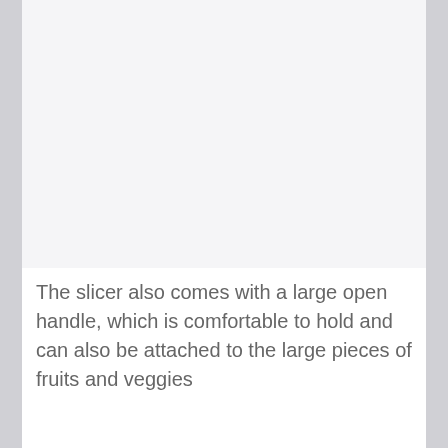[Figure (photo): Product image placeholder area — appears blank/very faint with a light gray background]
The slicer also comes with a large open handle, which is comfortable to hold and can also be attached to the large pieces of fruits and veggies